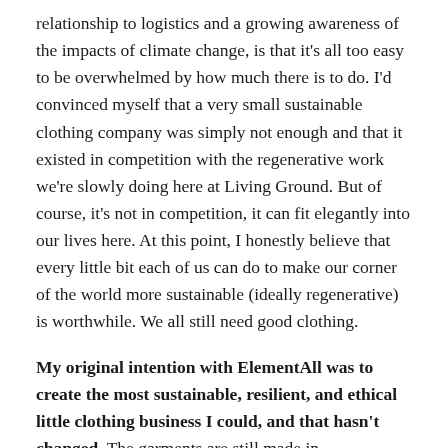relationship to logistics and a growing awareness of the impacts of climate change, is that it's all too easy to be overwhelmed by how much there is to do. I'd convinced myself that a very small sustainable clothing company was simply not enough and that it existed in competition with the regenerative work we're slowly doing here at Living Ground. But of course, it's not in competition, it can fit elegantly into our lives here. At this point, I honestly believe that every little bit each of us can do to make our corner of the world more sustainable (ideally regenerative) is worthwhile. We all still need good clothing.
My original intention with ElementAll was to create the most sustainable, resilient, and ethical little clothing business I could, and that hasn't changed. The garments are still made in